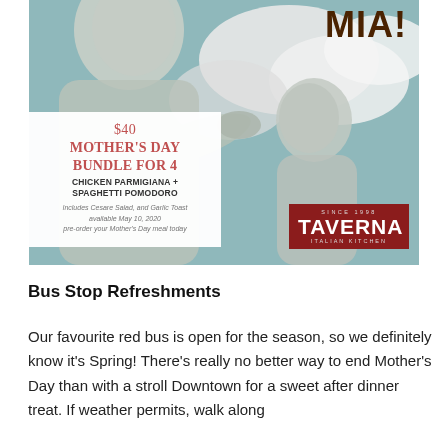[Figure (illustration): Restaurant advertisement image showing classical marble statues (mother and child) with clouds background, bold text 'MIA!' in top right. White overlay box on left with '$40 MOTHER'S DAY BUNDLE FOR 4 - CHICKEN PARMIGIANA + SPAGHETTI POMODORO - Includes Cesare Salad and Garlic Toast, available May 10 2020, pre-order your Mother's Day meal today'. Taverna Italian Kitchen logo badge in bottom right (red background, white text).]
Bus Stop Refreshments
Our favourite red bus is open for the season, so we definitely know it's Spring! There's really no better way to end Mother's Day than with a stroll Downtown for a sweet after dinner treat. If weather permits, walk along